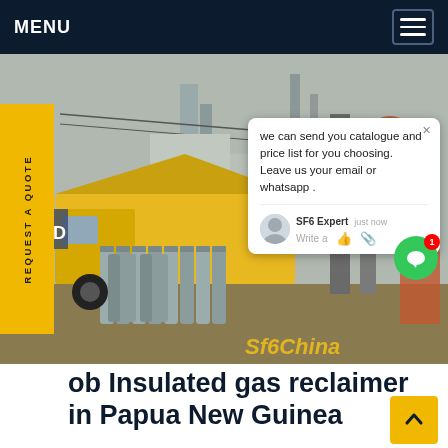MENU
[Figure (photo): Yellow gas reclaimer truck with grey SF6 gas cylinders in an outdoor industrial/electrical substation setting. Multiple cylinders stand upright in rows. Industrial structures and electrical equipment visible in background.]
we can send you catalogue and price list for you choosing. Leave us your email or whatsapp .
SF6 Expert   just now
Write a
REQUEST A QUOTE
ob Insulated gas reclaimer in Papua New Guinea